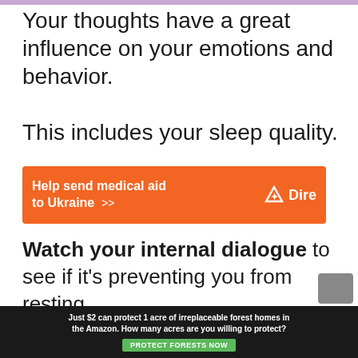Your thoughts have a great influence on your emotions and behavior.
This includes your sleep quality.
[Figure (other): Orange advertisement banner: 'Help send medical aid to Ukraine >>' with Direct Relief logo on right]
Watch your internal dialogue to see if it’s preventing you from resting.
What are your beliefs about sleep?
Do you accept it or do you think it’s getting in the way of work?
[Figure (other): Bottom advertisement banner: 'Just $2 can protect 1 acre of irreplaceable forest homes in the Amazon. How many acres are you willing to protect?' with 'PROTECT FORESTS NOW' green button]